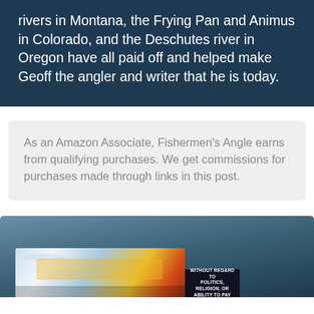rivers in Montana, the Frying Pan and Animus in Colorado, and the Deschutes river in Oregon have all paid off and helped make Geoff the angler and writer that he is today.
As an Amazon Associate, Fishermen's Angle earns from qualifying purchases. We get commissions for purchases made through links in this post.
[Figure (photo): Bottom portion of a webpage showing a dark teal/blue banner at the bottom with an embedded advertisement image of an airplane being loaded with cargo, and a dark ad label reading 'WITHOUT REGARD TO POLITICS, RELIGION, OR ABILITY TO PAY']